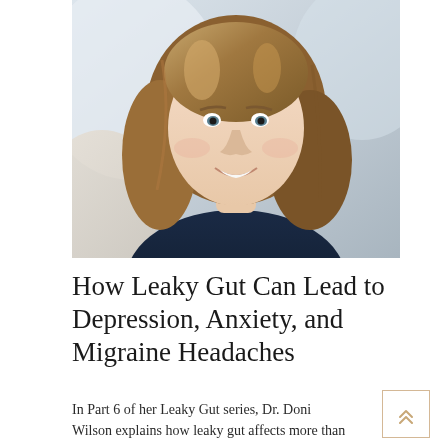[Figure (photo): Portrait photo of a smiling woman with medium-length highlighted brown hair, wearing a dark navy blue top, photographed against a light blurred background.]
How Leaky Gut Can Lead to Depression, Anxiety, and Migraine Headaches
In Part 6 of her Leaky Gut series, Dr. Doni Wilson explains how leaky gut affects more than